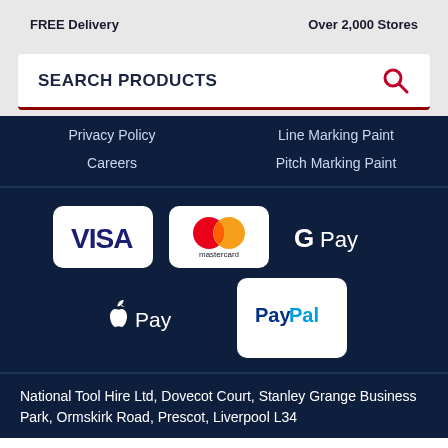FREE Delivery    Over 2,000 Stores
SEARCH PRODUCTS
Privacy Policy
Line Marking Paint
Careers
Pitch Marking Paint
[Figure (logo): Payment method logos: VISA, Mastercard, Google Pay, Apple Pay, PayPal]
National Tool Hire Ltd, Dovecot Court, Stanley Grange Business Park, Ormskirk Road, Prescot, Liverpool L34